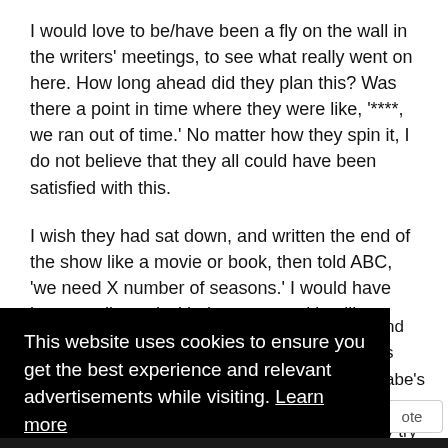I would love to be/have been a fly on the wall in the writers' meetings, to see what really went on here. How long ahead did they plan this? Was there a point in time where they were like, '****, we ran out of time.' No matter how they spin it, I do not believe that they all could have been satisfied with this.
I wish they had sat down, and written the end of the show like a movie or book, then told ABC, 'we need X number of seasons.' I would have been totally cool with them even taking like a year off to do that.
[Figure (screenshot): Cookie consent banner overlay on black background with text 'This website uses cookies to ensure you get the best experience and relevant advertisements while visiting. Learn more' and a yellow 'Got it!' button. Partial text visible on the right side.]